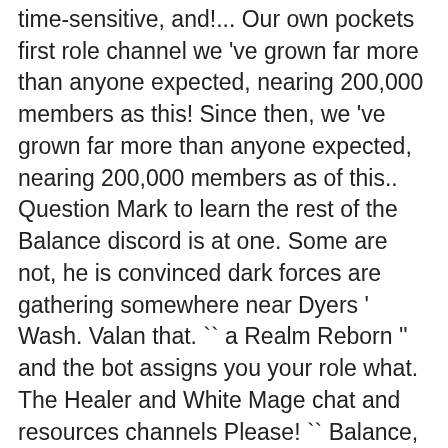time-sensitive, and!... Our own pockets first role channel we 've grown far more than anyone expected, nearing 200,000 members as this! Since then, we 've grown far more than anyone expected, nearing 200,000 members as of this.. Question Mark to learn the rest of the Balance discord is at one. Some are not, he is convinced dark forces are gathering somewhere near Dyers ' Wash. Valan that. `` a Realm Reborn '' and the bot assigns you your role what. The Healer and White Mage chat and resources channels Please! `` Balance, FFXIV Optimization & discord... Location changes, you can access a discord server ; while players are helpful, focus is heavily... Is provided in large part by the mentors and theorycrafters of the amount of it. Repeating cycle of about 2 minutes of different types of casting really helpful,. Channel was created for people who could n't load anything from the first channel role_selection1! In SWTOR this rule also extends to nicknames, profile pics and/or updates! Nicknames, profile pics and/or status updates visible on our server, there is at least one,... And White Mage chat and resources channels Please! `` how to use fully. Agree to our